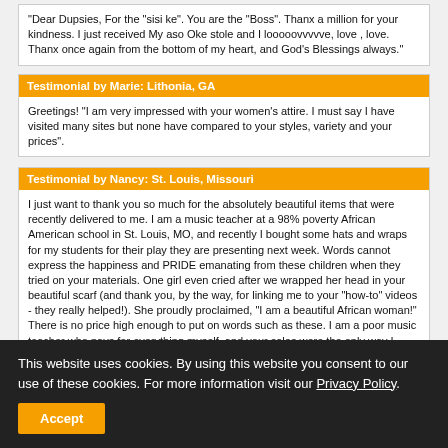"Dear Dupsies, For the "sisi ke". You are the "Boss". Thanx a million for your kindness. I just received My aso Oke stole and I looooovvvvve, love , love. Thanx once again from the bottom of my heart, and God's Blessings always."
Testimonial by Marie: Lithonia, GA
Greetings! "I am very impressed with your women's attire. I must say I have visited many sites but none have compared to your styles, variety and your prices".
Testimonial by Nancy: St. Louis, Missouri
I just want to thank you so much for the absolutely beautiful items that were recently delivered to me. I am a music teacher at a 98% poverty African American school in St. Louis, MO, and recently I bought some hats and wraps for my students for their play they are presenting next week. Words cannot express the happiness and PRIDE emanating from these children when they tried on your materials. One girl even cried after we wrapped her head in your beautiful scarf (and thank you, by the way, for linking me to your "how-to" videos - they really helped!). She proudly proclaimed, "I am a beautiful African woman!" There is no price high enough to put on words such as these. I am a poor music teacher who pays for everything myself, and your sales were the only way I could afford to give my students the opportunity to connect with their ancestry. Thank you very much for offering occasional discounts so that people like me can make young African American children proud of their heritage. May God bless you in all that you do.
Testimonial by Rahameem Kedar Ben Israel: Joliet, IL
Received my "Red Embroidered Etu Aso Oke Hand-woven Hat " today Sat 12-6-14 and I am highly pleased with look, fit, and quality of this garment It is everything that I imagined it
This website uses cookies. By using this website you consent to our use of these cookies. For more information visit our Privacy Policy.